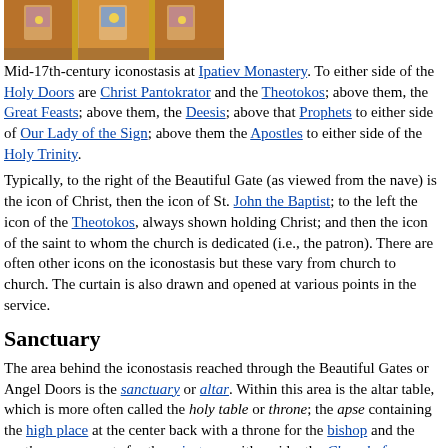[Figure (photo): Mid-17th-century iconostasis at Ipatiev Monastery showing religious icons with gold ornamentation]
Mid-17th-century iconostasis at Ipatiev Monastery. To either side of the Holy Doors are Christ Pantokrator and the Theotokos; above them, the Great Feasts; above them, the Deesis; above that Prophets to either side of Our Lady of the Sign; above them the Apostles to either side of the Holy Trinity.
Typically, to the right of the Beautiful Gate (as viewed from the nave) is the icon of Christ, then the icon of St. John the Baptist; to the left the icon of the Theotokos, always shown holding Christ; and then the icon of the saint to whom the church is dedicated (i.e., the patron). There are often other icons on the iconostasis but these vary from church to church. The curtain is also drawn and opened at various points in the service.
Sanctuary
The area behind the iconostasis reached through the Beautiful Gates or Angel Doors is the sanctuary or altar. Within this area is the altar table, which is more often called the holy table or throne; the apse containing the high place at the center back with a throne for the bishop and the synthronos, or seats for the priests, on either side; the Chapel of Prothesis on the north side where the offerings are prepared in the Proskomedia before being brought to the altar